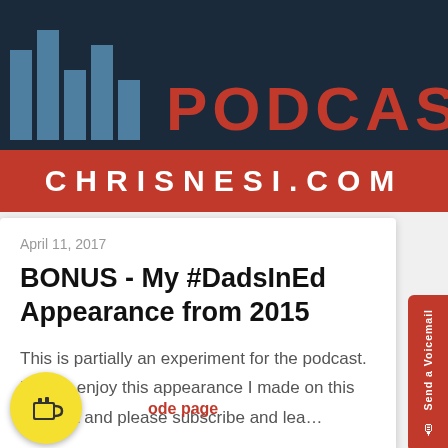[Figure (logo): Podcast logo banner with teal/blue vertical bars of varying heights and the word PODCAST in large red letters on a dark navy background]
CHRISNESI.COM
April 11, 2017
BONUS - My #DadsInEd Appearance from 2015
This is partially an experiment for the podcast. Please enjoy this appearance I made on this podcast and please subscribe and lea...
ode page